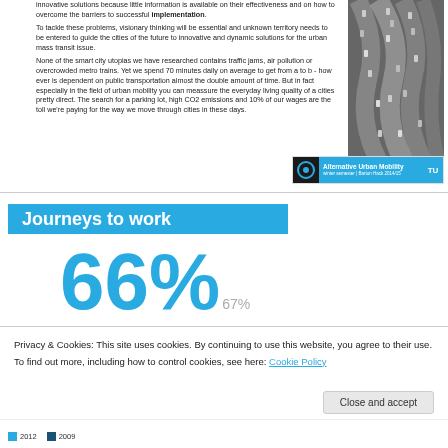innovative solutions because little information is available on their effectiveness and on how to overcome the barriers to successful implementation.
To tackle these problems, visionary thinking will be essential and unknown territory needs to be entered to guide the cities of the future to innovative and dynamic solutions for the urban mass transit issue.
None of the smart city utopias we have researched contains traffic jams, air pollution or overcrowded metro trains. Yet we spend 70 minutes daily on average to get from a to b - how ever is dependent on public transportation almost the double amount of time. But in fact especially in the field of urban mobility you can meassure the everyday living quality of a cities pretty direct. The search for a parking lot, high CO2 emissions and 10% of our wages are the toll we're paying for the way we move through cities in these days.
[Figure (photo): Aerial black and white photo of dense traffic on curved highway lanes]
[Figure (logo): Alternative Urban Mobility badge with TU logo, blue background, white text]
Journeys to work
66%
67%
Privacy & Cookies: This site uses cookies. By continuing to use this website, you agree to their use.
To find out more, including how to control cookies, see here: Cookie Policy
2012
2009